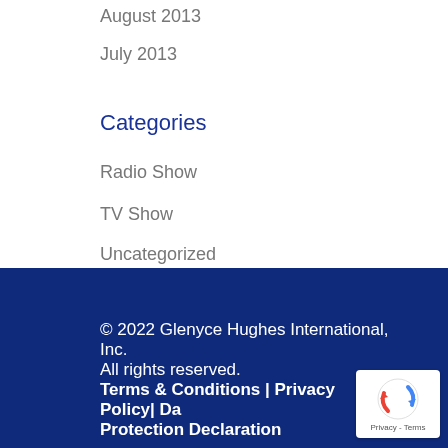August 2013
July 2013
Categories
Radio Show
TV Show
Uncategorized
© 2022 Glenyce Hughes International, Inc. All rights reserved. Terms & Conditions | Privacy Policy| Data Protection Declaration